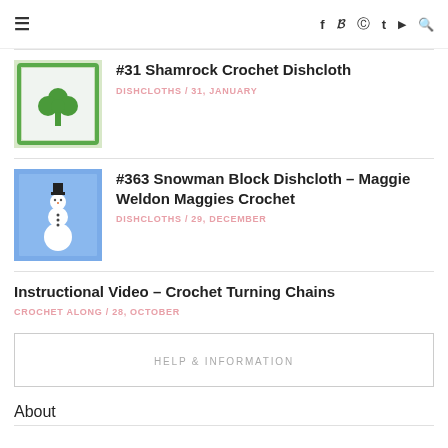≡  f  t  ⊕  t  ▶  🔍
[Figure (photo): Thumbnail of Shamrock Crochet Dishcloth - white background with green shamrock crochet square]
#31 Shamrock Crochet Dishcloth
DISHCLOTHS / 31, JANUARY
[Figure (photo): Thumbnail of Snowman Block Dishcloth - blue background with white snowman crochet square]
#363 Snowman Block Dishcloth – Maggie Weldon Maggies Crochet
DISHCLOTHS / 29, DECEMBER
Instructional Video – Crochet Turning Chains
CROCHET ALONG / 28, OCTOBER
HELP & INFORMATION
About